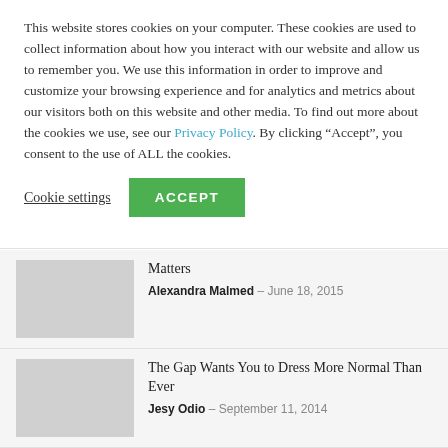This website stores cookies on your computer. These cookies are used to collect information about how you interact with our website and allow us to remember you. We use this information in order to improve and customize your browsing experience and for analytics and metrics about our visitors both on this website and other media. To find out more about the cookies we use, see our Privacy Policy. By clicking “Accept”, you consent to the use of ALL the cookies.
Cookie settings | ACCEPT
Matters
Alexandra Malmed - June 18, 2015
The Gap Wants You to Dress More Normal Than Ever
Jesy Odio - September 11, 2014
Mad Men Yourself: Trudy’s “Ruin You” Shirtdress
Linda Immediato - April 17, 2013